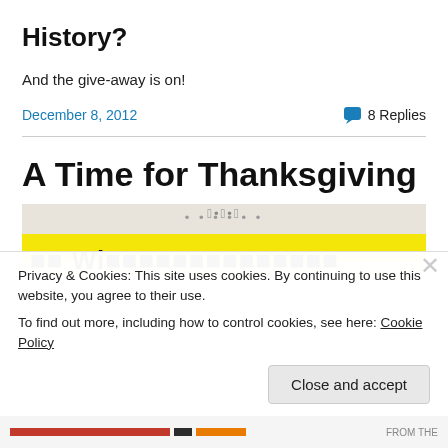History?
And the give-away is on!
December 8, 2012
💬 8 Replies
A Time for Thanksgiving
[Figure (photo): Partial view of a book or sign with yellow banner and bold black text on light background]
Privacy & Cookies: This site uses cookies. By continuing to use this website, you agree to their use.
To find out more, including how to control cookies, see here: Cookie Policy
Close and accept